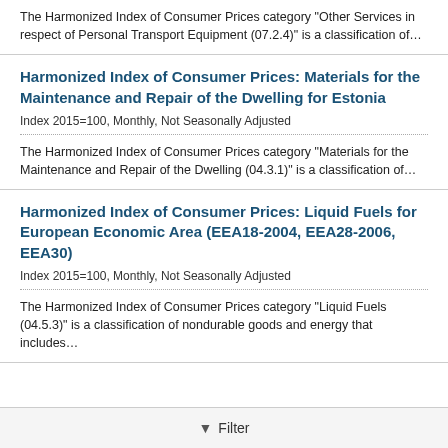The Harmonized Index of Consumer Prices category "Other Services in respect of Personal Transport Equipment (07.2.4)" is a classification of…
Harmonized Index of Consumer Prices: Materials for the Maintenance and Repair of the Dwelling for Estonia
Index 2015=100, Monthly, Not Seasonally Adjusted
The Harmonized Index of Consumer Prices category "Materials for the Maintenance and Repair of the Dwelling (04.3.1)" is a classification of…
Harmonized Index of Consumer Prices: Liquid Fuels for European Economic Area (EEA18-2004, EEA28-2006, EEA30)
Index 2015=100, Monthly, Not Seasonally Adjusted
The Harmonized Index of Consumer Prices category "Liquid Fuels (04.5.3)" is a classification of nondurable goods and energy that includes…
Filter